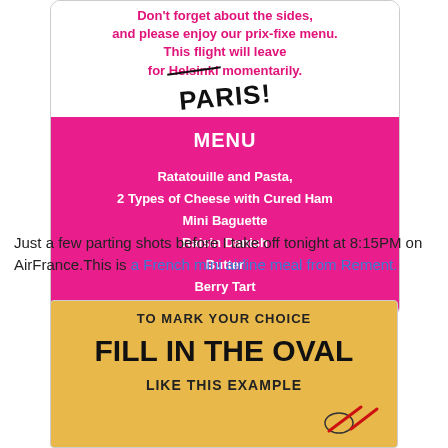[Figure (photo): A white card with a pink box showing an airline menu. Top text in pink reads 'Don't forget about the sides, and please enjoy our prix-fixe menu. This flight will leave for Helsinki momentarily.' with 'Helsinki' crossed out and 'PARIS!' stamped over it in black. Pink menu box lists: Ratatouille and Pasta, 2 Types of Cheese with Cured Ham, Mini Baguette, Raisin Danish, Butter, Berry Tart.]
Just a few parting shots before I take off tonight at 8:15PM on AirFrance.This is a French mini airline meal from Rement.
[Figure (photo): Yellow/gold background card reading 'TO MARK YOUR CHOICE' then large bold 'FILL IN THE OVAL' then 'LIKE THIS EXAMPLE' with a red checkmark/oval example partially visible at bottom.]